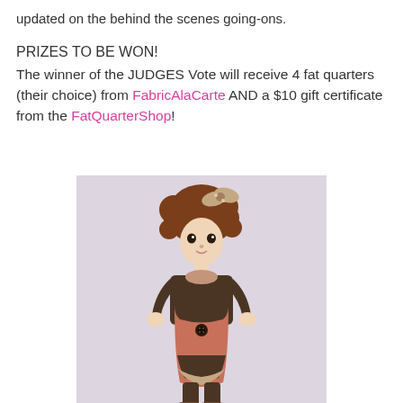updated on the behind the scenes going-ons.
PRIZES TO BE WON!
The winner of the JUDGES Vote will receive 4 fat quarters (their choice) from FabricAlaCarte AND a $10 gift certificate from the FatQuarterShop!
[Figure (photo): A handmade cloth doll with curly brown hair and a floral bow, wearing a layered pink and dark brown plaid dress with a large button, and brown lace-up boots, standing against a light lavender background.]